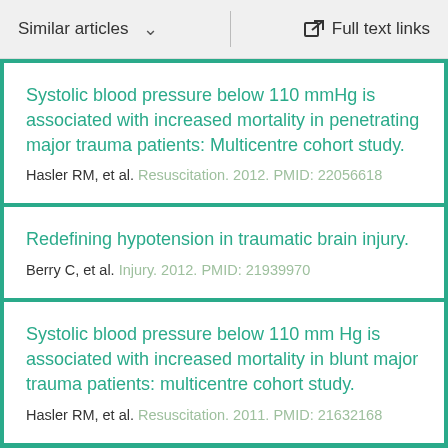Similar articles   ∨   Full text links
Systolic blood pressure below 110 mmHg is associated with increased mortality in penetrating major trauma patients: Multicentre cohort study.
Hasler RM, et al. Resuscitation. 2012. PMID: 22056618
Redefining hypotension in traumatic brain injury.
Berry C, et al. Injury. 2012. PMID: 21939970
Systolic blood pressure below 110 mm Hg is associated with increased mortality in blunt major trauma patients: multicentre cohort study.
Hasler RM, et al. Resuscitation. 2011. PMID: 21632168